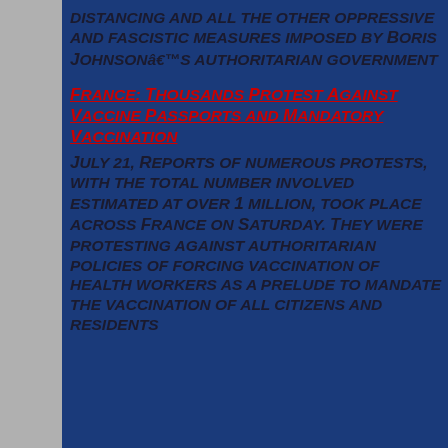DISTANCING AND ALL THE OTHER OPPRESSIVE AND FASCISTIC MEASURES IMPOSED BY BORIS JOHNSONâ€™S AUTHORITARIAN GOVERNMENT
FRANCE: THOUSANDS PROTEST AGAINST VACCINE PASSPORTS AND MANDATORY VACCINATION
JULY 21, REPORTS OF NUMEROUS PROTESTS, WITH THE TOTAL NUMBER INVOLVED ESTIMATED AT OVER 1 MILLION, TOOK PLACE ACROSS FRANCE ON SATURDAY. THEY WERE PROTESTING AGAINST AUTHORITARIAN POLICIES OF FORCING VACCINATION OF HEALTH WORKERS AS A PRELUDE TO MANDATE THE VACCINATION OF ALL CITIZENS AND RESIDENTS